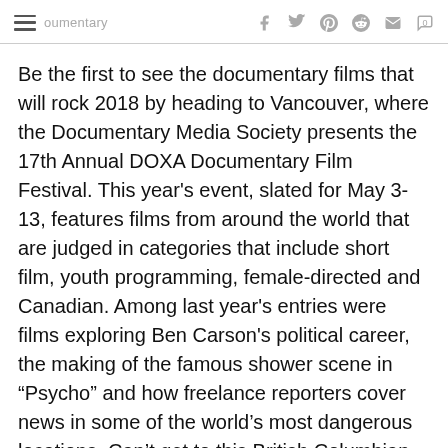documentary  f  y  p  d  [mail]  0
Be the first to see the documentary films that will rock 2018 by heading to Vancouver, where the Documentary Media Society presents the 17th Annual DOXA Documentary Film Festival. This year's event, slated for May 3-13, features films from around the world that are judged in categories that include short film, youth programming, female-directed and Canadian. Among last year's entries were films exploring Ben Carson's political career, the making of the famous shower scene in “Psycho” and how freelance reporters cover news in some of the world’s most dangerous locations. Can’t get to this British Columbian city in May? The society hosts programs and panels throughout the year to showcase works of documentary